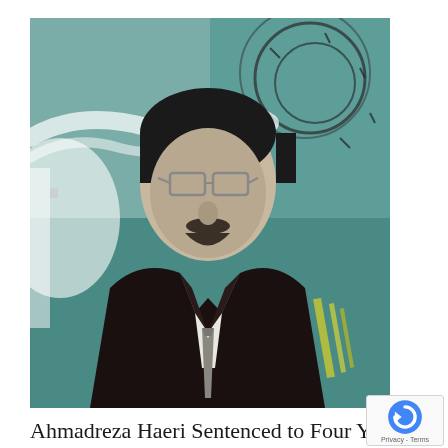[Figure (photo): Black and white photo of a bearded man wearing a suit and tie, with a stylized background showing barbed wire and satellite dish imagery in teal/green tones.]
Ahmadreza Haeri Sentenced to Four Years